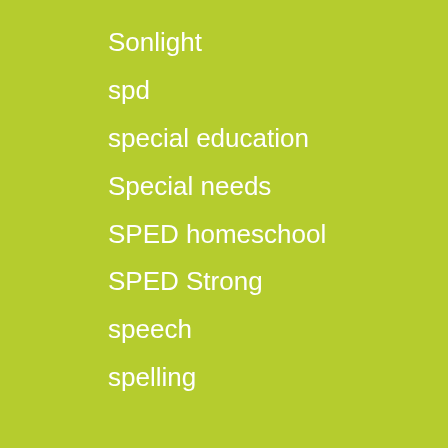Sonlight
spd
special education
Special needs
SPED homeschool
SPED Strong
speech
spelling